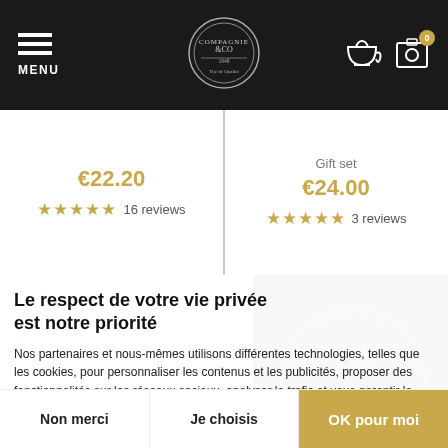MENU — Compagnie & Co logo — teapot icon — camera icon — cart 0
€22.20 ★★★★★ 16 reviews
Gift set €24.00 ★★★★★ 3 reviews
Le respect de votre vie privée est notre priorité
Nos partenaires et nous-mêmes utilisons différentes technologies, telles que les cookies, pour personnaliser les contenus et les publicités, proposer des fonctionnalités sur les réseaux sociaux, analyser le trafic et vous garantir la meilleure expérience.
Merci de cliquer sur le bouton ci-dessous pour donner votre accord. Vous pouvez changer d'avis et modifier vos choix à tout moment.
Non merci
Je choisis
OK pour moi